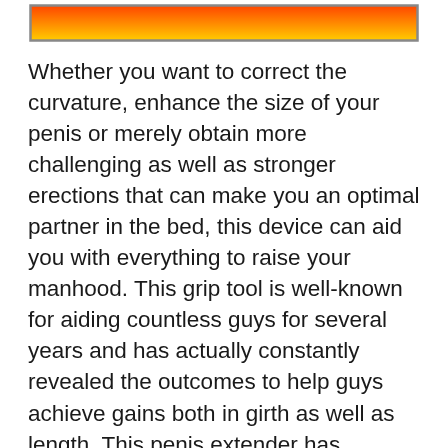[Figure (other): Gradient banner bar with orange-to-yellow gradient and grey border]
Whether you want to correct the curvature, enhance the size of your penis or merely obtain more challenging as well as stronger erections that can make you an optimal partner in the bed, this device can aid you with everything to raise your manhood. This grip tool is well-known for aiding countless guys for several years and has actually constantly revealed the outcomes to help guys achieve gains both in girth as well as length. This penis extender has actually been developed with MDA Technology to allow the user wear the gadget from a possible angle for ultimate convenience. The gadget is lightweight, durable, FDA approved and also clinical granted as the number 1